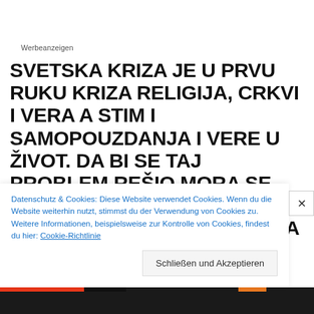Werbeanzeigen
SVETSKA KRIZA JE U PRVU RUKU KRIZA RELIGIJA, CRKVI I VERA A STIM I SAMOPOUZDANJA I VERE U ŽIVOT. DA BI SE TAJ PROBLEM REŠIO MORA SE POČETI ANALIZOM OD SAMOG POČETKA NASTANKA VERE U BOGA KAKO BEZUMNI NE BI OVLADALI UMNIMA JER TO BI ONDA BIO KRAJ SVETA. UZMIMO U SVOJE RUKE SVOJ DEO POSLA I NE ČEKAJMO NA
Datenschutz & Cookies: Diese Website verwendet Cookies. Wenn du die Website weiterhin nutzt, stimmst du der Verwendung von Cookies zu. Weitere Informationen, beispielsweise zur Kontrolle von Cookies, findest du hier: Cookie-Richtlinie
Schließen und Akzeptieren